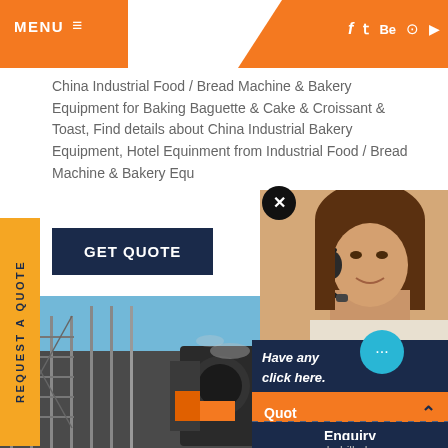MENU ☰   f  t  Be  ⊙  ▶
China Industrial Food / Bread Machine & Bakery Equipment for Baking Baguette & Cake & Croissant & Toast, Find details about China Industrial Bakery Equipment, Hotel Equipment from Industrial Food / Bread Machine & Bakery Equ
GET QUOTE
REQUEST A QUOTE
[Figure (photo): Construction site with heavy industrial machinery (crusher/mill equipment) and scaffolding against a blue sky]
[Figure (photo): Customer service representative (woman with headset/microphone) smiling]
Have any  click here.
Quot
Enquiry
drobilkalm